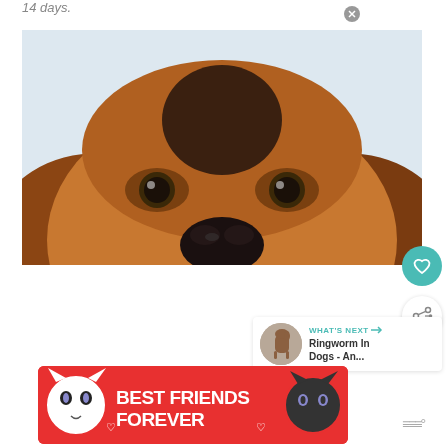14 days.
[Figure (photo): Close-up photo of a dog's face from above — brown/tan fur, floppy ears, dark eyes, black nose — on a light blue-white background]
[Figure (other): Teal heart icon button and share icon button on the right side]
[Figure (other): WHAT'S NEXT panel with small dog thumbnail and text 'Ringworm In Dogs - An...']
[Figure (other): Advertisement banner: BEST FRIENDS FOREVER with cat images on red background]